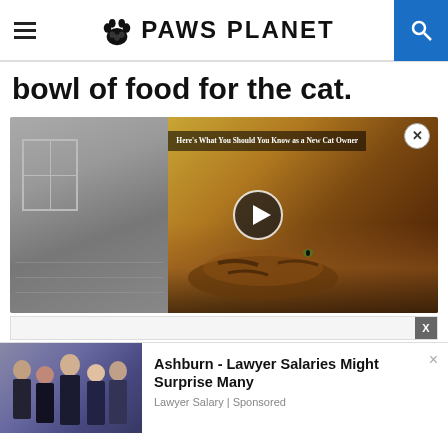PAWS PLANET
bowl of food for the cat.
[Figure (screenshot): Embedded video player showing a tabby cat lying on its back with text overlay: Here's What You Should You Know as a New Cat Owner, with a play button in the center and a close X button]
[Figure (screenshot): Advertisement banner: Ashburn - Lawyer Salaries Might Surprise Many. Lawyer Salary | Sponsored. Shows group of people in business attire on the left.]